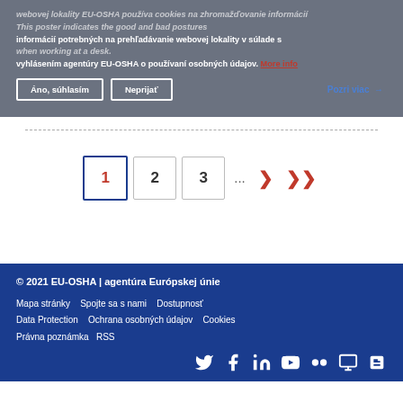webovej lokality EU-OSHA používa cookies na zhromažďovanie informácií potrebných na prehľadávanie webovej lokality v súlade s vyhlásením agentúry EU-OSHA o používaní osobných údajov. More info / This poster indicates the good and bad postures when working at a desk.
Áno, súhlasím | Neprijať | Pozri viac →
1  2  3  ...  >  >>
© 2021 EU-OSHA | agentúra Európskej únie
Mapa stránky   Spojte sa s nami   Dostupnosť
Data Protection   Ochrana osobných údajov   Cookies
Právna poznámka   RSS